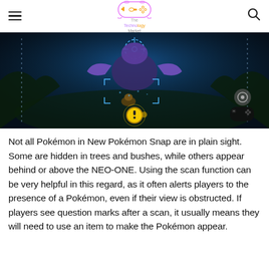The Technology Market
[Figure (screenshot): Screenshot from New Pokémon Snap game showing a dark blue/teal underwater or forest scene with a Pokémon visible and a scan interface overlay including a golden alert icon and game controller icon in the bottom right.]
Not all Pokémon in New Pokémon Snap are in plain sight. Some are hidden in trees and bushes, while others appear behind or above the NEO-ONE. Using the scan function can be very helpful in this regard, as it often alerts players to the presence of a Pokémon, even if their view is obstructed. If players see question marks after a scan, it usually means they will need to use an item to make the Pokémon appear.